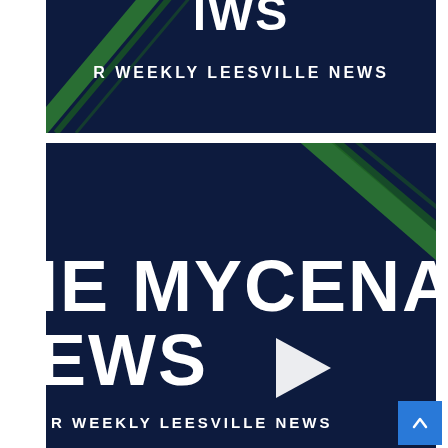[Figure (screenshot): Dark navy blue video thumbnail showing 'YOUR WEEKLY LEESVILLE NEWS' text in white on a dark navy background with green diagonal stripe accents in bottom left corner. Partial text cut off at top.]
[Figure (screenshot): Dark navy blue video thumbnail showing 'THE MYCENAEAN NEWS' in large white bold text with a white play button triangle in the center, and 'YOUR WEEKLY LEESVILLE NEWS' in smaller white text at the bottom. Green diagonal stripe accents visible in upper right corner. A blue scroll-to-top button with a caret/arrow is visible in the bottom right corner.]